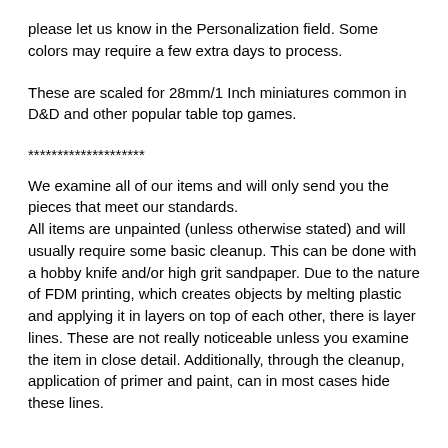please let us know in the Personalization field. Some colors may require a few extra days to process.
These are scaled for 28mm/1 Inch miniatures common in D&D and other popular table top games.
********************
We examine all of our items and will only send you the pieces that meet our standards.
All items are unpainted (unless otherwise stated) and will usually require some basic cleanup. This can be done with a hobby knife and/or high grit sandpaper. Due to the nature of FDM printing, which creates objects by melting plastic and applying it in layers on top of each other, there is layer lines. These are not really noticeable unless you examine the item in close detail. Additionally, through the cleanup, application of primer and paint, can in most cases hide these lines.